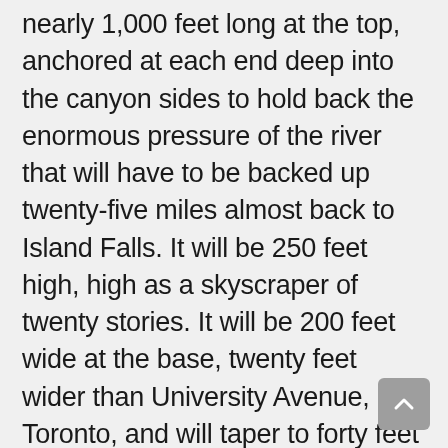nearly 1,000 feet long at the top, anchored at each end deep into the canyon sides to hold back the enormous pressure of the river that will have to be backed up twenty-five miles almost back to Island Falls. It will be 250 feet high, high as a skyscraper of twenty stories. It will be 200 feet wide at the base, twenty feet wider than University Avenue, Toronto, and will taper to forty feet at the top. This great dam will give a head of 240 feet of water which will pour down through five penstocks to turn five generators in the power house below, each with a capacity of  68,000 horsepower.
The contours today south of the site of the dam will largely disappear, the Abitibi